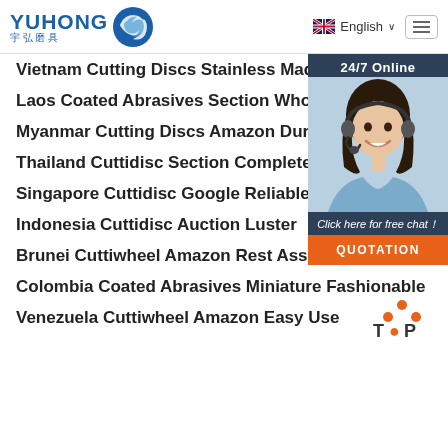[Figure (logo): YUHONG 宇弘磨具 logo with blue wave/circle icon]
[Figure (infographic): UK flag icon with English language selector and dropdown arrow]
[Figure (infographic): Hamburger menu button]
Vietnam Cutting Discs Stainless Made
Laos Coated Abrasives Section Wholesale
Myanmar Cutting Discs Amazon Durable
Thailand Cuttidisc Section Complete Spec
Singapore Cuttidisc Google Reliable Qua
Indonesia Cuttidisc Auction Luster
Brunei Cuttiwheel Amazon Rest Assured
Colombia Coated Abrasives Miniature Fashionable
Venezuela Cuttiwheel Amazon Easy Use
[Figure (infographic): 24/7 Online chat widget with customer service representative photo, 'Click here for free chat!' text, and QUOTATION orange button]
[Figure (infographic): TOP scroll-to-top button with orange dots arrow icon]